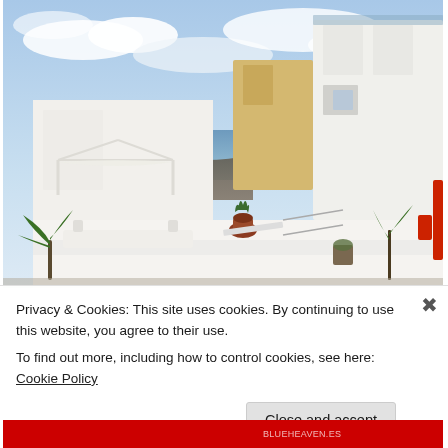[Figure (photo): Photograph of white Mediterranean-style buildings and terraces with a pergola structure in the foreground, plants and a terracotta pot visible, sea and hilly landscape in the background under a partly cloudy sky. Santorini-style architecture.]
Privacy & Cookies: This site uses cookies. By continuing to use this website, you agree to their use.
To find out more, including how to control cookies, see here: Cookie Policy
Close and accept